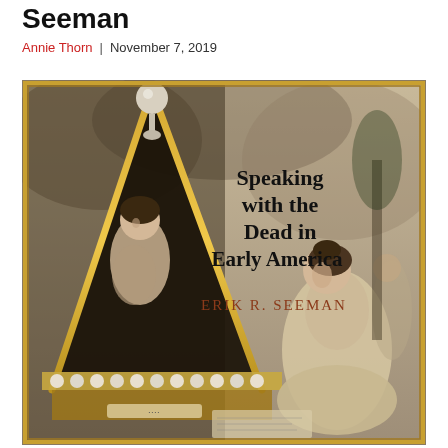Seeman
Annie Thorn  |  November 7, 2019
[Figure (photo): Book cover of 'Speaking with the Dead in Early America' by Erik R. Seeman. The cover features a sepia-toned vintage image showing two women near an ornate triangular/pyramidal structure decorated with gold ropes and pearls, with text overlaid: 'Speaking with the Dead in Early America' in bold black serif font and 'Erik R. Seeman' in brown serif font.]